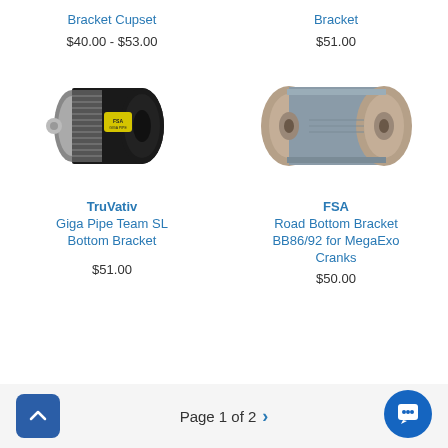Bracket Cupset
$40.00 - $53.00
Bracket
$51.00
[Figure (photo): TruVativ Giga Pipe Team SL Bottom Bracket - black metal bicycle bottom bracket component]
[Figure (photo): FSA Road Bottom Bracket BB86/92 for MegaExo Cranks - grey and tan/brown cylindrical bottom bracket]
TruVativ
Giga Pipe Team SL Bottom Bracket
$51.00
FSA
Road Bottom Bracket BB86/92 for MegaExo Cranks
$50.00
Page 1 of 2